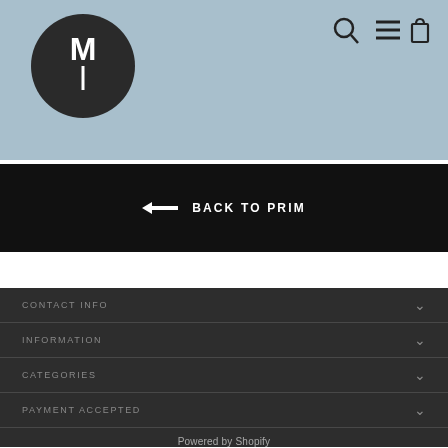[Figure (logo): Dark circular logo with letter M and vertical bar on steel blue background with search, menu, and cart icons top right]
← BACK TO PRIM
CONTACT INFO
INFORMATION
CATEGORIES
PAYMENT ACCEPTED
Powered by Shopify